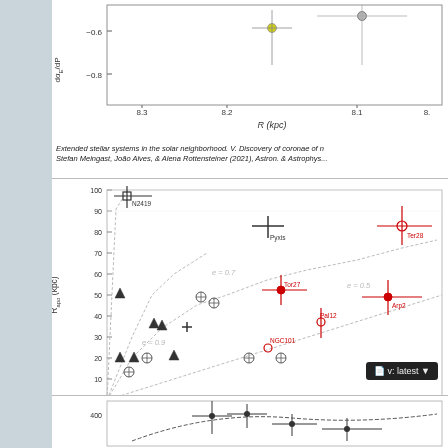[Figure (continuous-plot): Partial scatter plot showing dα_E/dR vs R (kpc), with data points at approximately R=8.2 kpc, y values around -0.6. Y-axis shows values -0.6 and -0.8, x-axis shows 8.3, 8.2, 8.1.]
Extended stellar systems in the solar neighborhood. V. Discovery of coronae of n Stefan Meingast, João Alves, & Alena Rottensteiner (2021), Astron. & Astrophys...
[Figure (scatter-plot): Scatter plot of R_apo (kpc) vs R_peri (kpc) for distant Milky Way globular clusters. Points include labeled clusters: N2419, Pyxis, Ter28, Tor27, Arp2, Pal12, NGC101. Curves of constant eccentricity e=0, 0.5, 0.7, 0.9 shown as gray dashed curves. Black filled triangles and open symbols plus red symbols used for different cluster types.]
Absolute HST Proper Motion (HSTPROMO) Catalog of Distant Milky Way Globular Clusters. dimensional Systemic Velocities and the Milky Way Mass, Sangmo Tony Sohn, Fardal, Roeland P. van der Marel, Alis J. Deason, Gurtina Besla, & Andrea Bellini, 862, 52
[Figure (continuous-plot): Partial chart at bottom showing axis value 400 and scattered data points with error bars.]